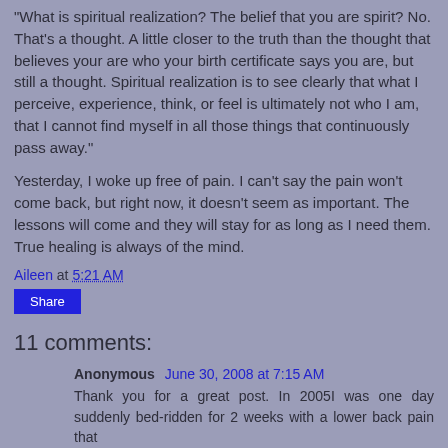“What is spiritual realization? The belief that you are spirit? No. That’s a thought. A little closer to the truth than the thought that believes your are who your birth certificate says you are, but still a thought. Spiritual realization is to see clearly that what I perceive, experience, think, or feel is ultimately not who I am, that I cannot find myself in all those things that continuously pass away.”
Yesterday, I woke up free of pain. I can’t say the pain won’t come back, but right now, it doesn’t seem as important. The lessons will come and they will stay for as long as I need them. True healing is always of the mind.
Aileen at 5:21 AM
Share
11 comments:
Anonymous  June 30, 2008 at 7:15 AM
Thank you for a great post. In 2005I was one day suddenly bed-ridden for 2 weeks with a lower back pain that